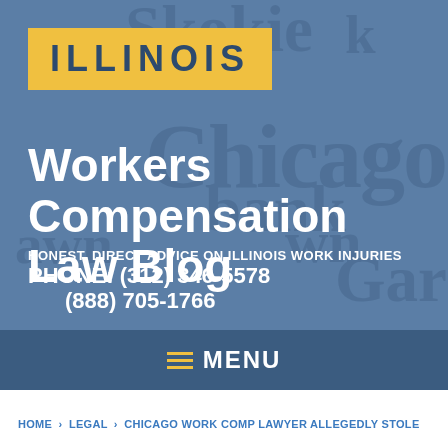[Figure (screenshot): Illinois Workers Compensation Law Blog header banner with blue background, watermark city names (Skokie, Chicago, bank, Gary), yellow ILLINOIS logo box, white blog title text, tagline, and phone numbers]
ILLINOIS
Workers Compensation Law Blog
HONEST, DIRECT ADVICE ON ILLINOIS WORK INJURIES
PHONE: (312) 346-5578
(888) 705-1766
MENU
HOME › LEGAL › CHICAGO WORK COMP LAWYER ALLEGEDLY STOLE